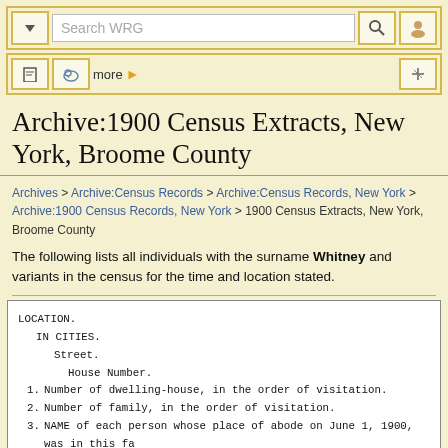Search WRG navigation bar
Archive:1900 Census Extracts, New York, Broome County
Archives > Archive:Census Records > Archive:Census Records, New York > Archive:1900 Census Records, New York > 1900 Census Extracts, New York, Broome County
The following lists all individuals with the surname Whitney and variants in the census for the time and location stated.
LOCATION.
  IN CITIES.
    Street.
      House Number.
1. Number of dwelling-house, in the order of visitation.
2. Number of family, in the order of visitation.
3. NAME of each person whose place of abode on June 1, 1900, was in this fa
   Enter surname first, then the given name and middle initial, if any.